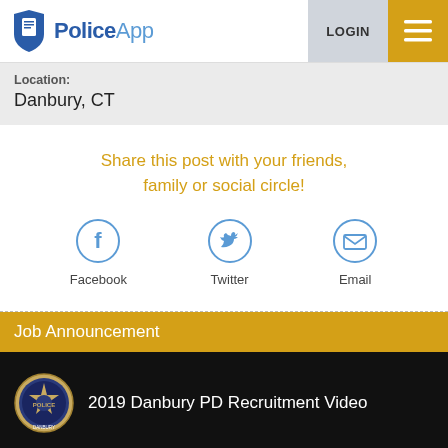[Figure (screenshot): PoliceApp website header with blue shield/document logo, 'PoliceApp' text, LOGIN button, and hamburger menu on gold background]
Location:
Danbury, CT
Share this post with your friends, family or social circle!
[Figure (illustration): Three social share icons: Facebook (f), Twitter (bird), Email (envelope) with labels below]
Job Announcement
[Figure (screenshot): Video thumbnail with Danbury PD badge logo and text '2019 Danbury PD Recruitment Video' on black background]